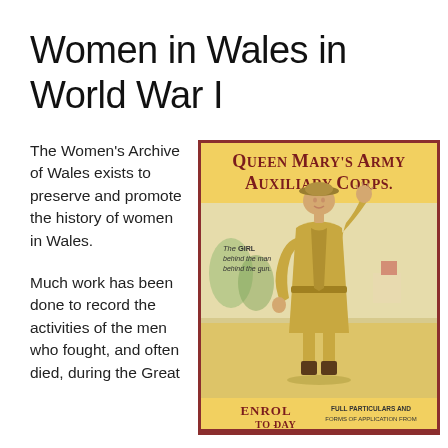Women in Wales in World War I
The Women's Archive of Wales exists to preserve and promote the history of women in Wales.
Much work has been done to record the activities of the men who fought, and often died, during the Great
[Figure (illustration): World War I recruitment poster for Queen Mary's Army Auxiliary Corps. Shows a woman in khaki uniform with hat, waving her hand. Text reads 'Queen Mary's Army Auxiliary Corps. The Girl behind the man behind the gun. Enrol To-Day. Full Particulars and Forms of Application from'. Yellow background with red border.]